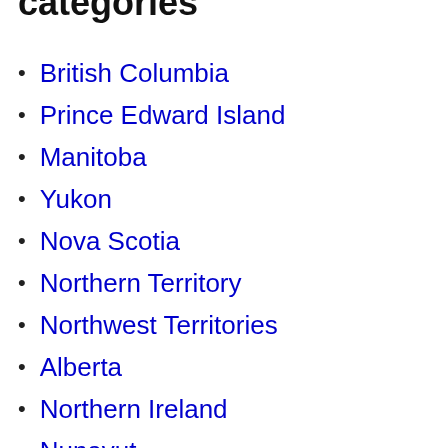categories
British Columbia
Prince Edward Island
Manitoba
Yukon
Nova Scotia
Northern Territory
Northwest Territories
Alberta
Northern Ireland
Nunavut
Victoria